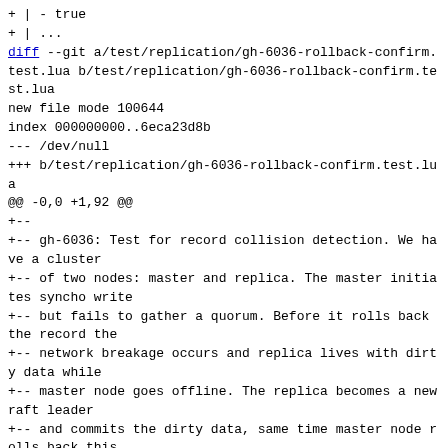+ | - true
+ | ...
diff --git a/test/replication/gh-6036-rollback-confirm.test.lua b/test/replication/gh-6036-rollback-confirm.test.lua
new file mode 100644
index 000000000..6eca23d8b
--- /dev/null
+++ b/test/replication/gh-6036-rollback-confirm.test.lua
@@ -0,0 +1,92 @@
+--
+-- gh-6036: Test for record collision detection. We have a cluster
+-- of two nodes: master and replica. The master initiates syncho write
+-- but fails to gather a quorum. Before it rolls back the record the
+-- network breakage occurs and replica lives with dirty data while
+-- master node goes offline. The replica becomes a new raft leader
+-- and commits the dirty data, same time master node rolls back this
+-- record and tries to connect to the new raft leader back. Such
+-- connection should be refused because old master node is not longer
+-- consistent.
+--